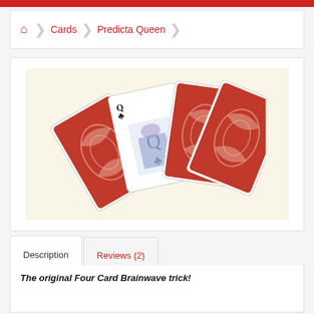Cards > Predicta Queen
[Figure (photo): Four playing cards fanned out on a cream/beige background. Three cards show red bicycle-pattern backs, and one card in the middle is face-up showing the Queen of Clubs.]
Description | Reviews (2)
The original Four Card Brainwave trick!